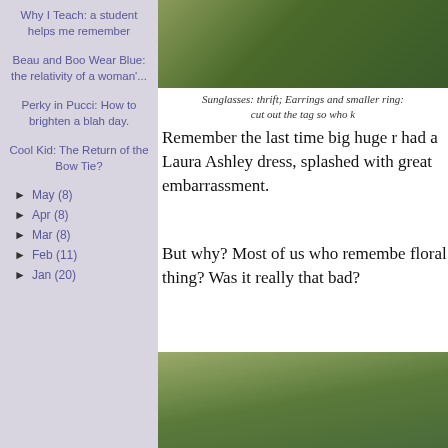Why I Teach: a student helps me remember
Beau and Boo Wear Blue: the relativity of a woman'...
Perky in Pucci: How to brighten a blah day.
Cool Kid: The Return of the Bow Tie?
► May (8)
► Apr (8)
► Mar (8)
► Feb (11)
► Jan (20)
[Figure (photo): Photo of green foliage/plant at top right]
Sunglasses: thrift; Earrings and smaller ring: cut out the tag so who k
Remember the last time big huge r had a Laura Ashley dress, splashed with great embarrassment.
But why? Most of us who remembe floral thing? Was it really that bad?
So here I am, posing in front of the And looking just fine, I think, desp
[Figure (photo): Photo of green foliage/leaves at bottom right]